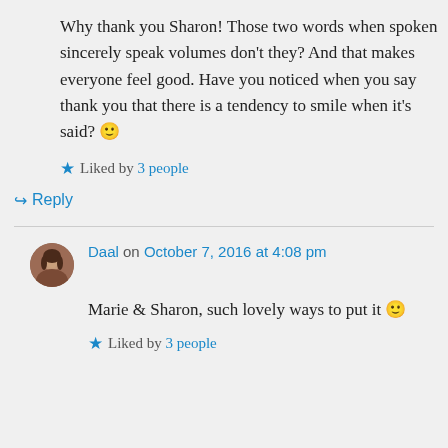Why thank you Sharon! Those two words when spoken sincerely speak volumes don't they? And that makes everyone feel good. Have you noticed when you say thank you that there is a tendency to smile when it's said? 🙂
Liked by 3 people
↪ Reply
Daal on October 7, 2016 at 4:08 pm
Marie & Sharon, such lovely ways to put it 🙂
Liked by 3 people